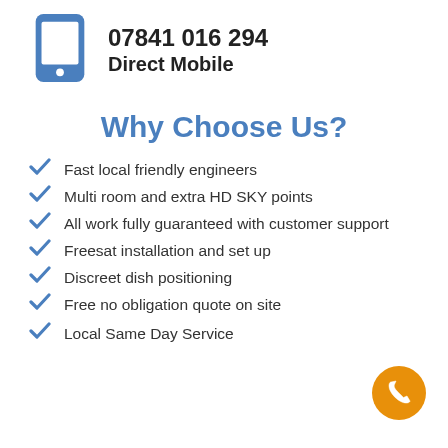[Figure (illustration): Blue mobile phone icon]
07841 016 294
Direct Mobile
Why Choose Us?
Fast local friendly engineers
Multi room and extra HD SKY points
All work fully guaranteed with customer support
Freesat installation and set up
Discreet dish positioning
Free no obligation quote on site
Local Same Day Service
[Figure (illustration): Orange circle with white phone handset icon (call button)]